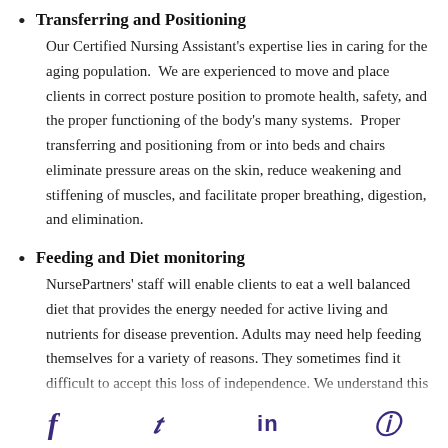Transferring and Positioning
Our Certified Nursing Assistant's expertise lies in caring for the aging population.  We are experienced to move and place clients in correct posture position to promote health, safety, and the proper functioning of the body's many systems.  Proper transferring and positioning from or into beds and chairs eliminate pressure areas on the skin, reduce weakening and stiffening of muscles, and facilitate proper breathing, digestion, and elimination.
Feeding and Diet monitoring
NursePartners' staff will enable clients to eat a well balanced diet that provides the energy needed for active living and nutrients for disease prevention. Adults may need help feeding themselves for a variety of reasons. They sometimes find it difficult to accept this loss of independence. We understand this and make every effort to ensure that mealtime is